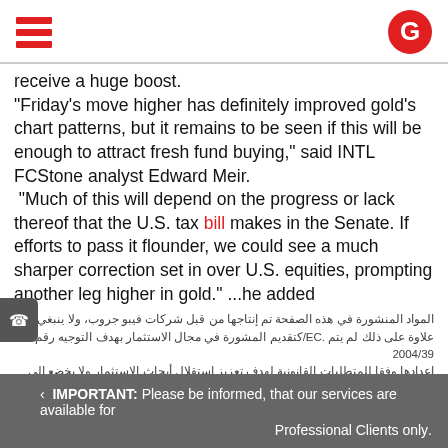[Hamburger menu icon] [G logo]
receive a huge boost.
"Friday's move higher has definitely improved gold's chart patterns, but it remains to be seen if this will be enough to attract fresh fund buying," said INTL FCStone analyst Edward Meir.
 "Much of this will depend on the progress or lack thereof that the U.S. tax bill makes in the Senate. If efforts to pass it flounder, we could see a much sharper correction set in over U.S. equities, prompting another leg higher in gold." ...he added
المواد المنشورة في هذه الصفحة تم إنتاجها من قبل شركات فيبو جروب، ولا ينبغي الاعتماد عليها، علاوة على ذلك لم يتم EC./كتقديم المشورة في مجال الاستثمار بهدف التوجيه رقم 2004/39 إعدادها وفقا للمتطلبات القانونية لهدف تعزيز استقلال أبحاث الاستثمار ولا يخضع إلى أي حظر على التعامل قبل نشر أبحاث الاستثمار.
IMPORTANT: Please be informed, that our services are available for Professional Clients only.